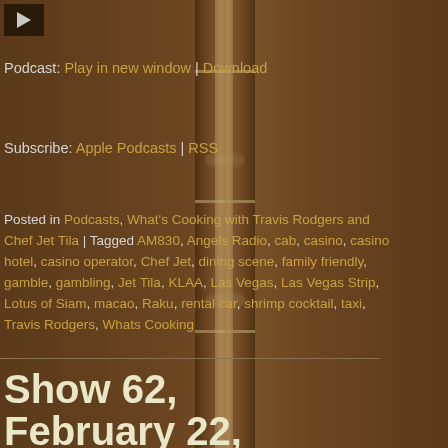[Figure (other): Media player play button in top-left corner with dark background]
Podcast: Play in new window | Download
Subscribe: Apple Podcasts | RSS
Posted in Podcasts, What's Cooking with Travis Rodgers and Chef Jet Tila | Tagged AM830, Angels Radio, cab, casino, casino hotel, casino operator, Chef Jet, dining scene, family friendly, gamble, gambling, Jet Tila, KLAA, Las Vegas, Las Vegas Strip, Lotus of Siam, macao, Raku, rental car, shrimp cocktail, taxi, Travis Rodgers, Whats Cooking
Show 62, February 22, 2013: Ryan Harkins, Executive